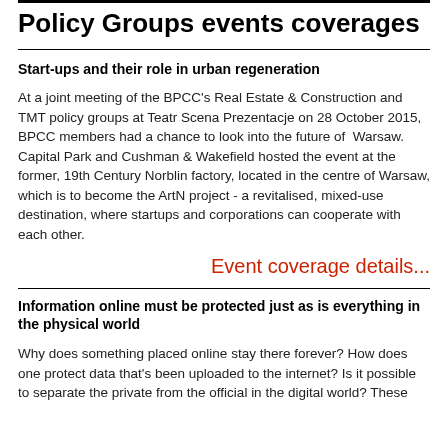Policy Groups events coverages
Start-ups and their role in urban regeneration
At a joint meeting of the BPCC's Real Estate & Construction and TMT policy groups at Teatr Scena Prezentacje on 28 October 2015, BPCC members had a chance to look into the future of Warsaw. Capital Park and Cushman & Wakefield hosted the event at the former, 19th Century Norblin factory, located in the centre of Warsaw, which is to become the ArtN project - a revitalised, mixed-use destination, where startups and corporations can cooperate with each other.
Event coverage details...
Information online must be protected just as is everything in the physical world
Why does something placed online stay there forever? How does one protect data that's been uploaded to the internet? Is it possible to separate the private from the official in the digital world? These